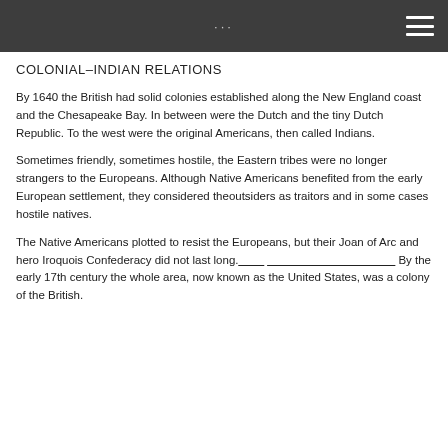... ☰
COLONIAL–INDIAN RELATIONS
By 1640 the British had solid colonies established along the New England coast and the Chesapeake Bay. In between were the Dutch and the tiny Dutch Republic. To the west were the original Americans, then called Indians.
Sometimes friendly, sometimes hostile, the Eastern tribes were no longer strangers to the Europeans. Although Native Americans benefited from the early European settlement, they considered theoutsiders as traitors and in some cases hostile natives.
The Native Americans plotted to resist the Europeans, but their Joan of Arc and hero Iroquois Confederacy did not last long.____ ____________________ By the early 17th century the whole area, now known as the United States, was a colony of the British.